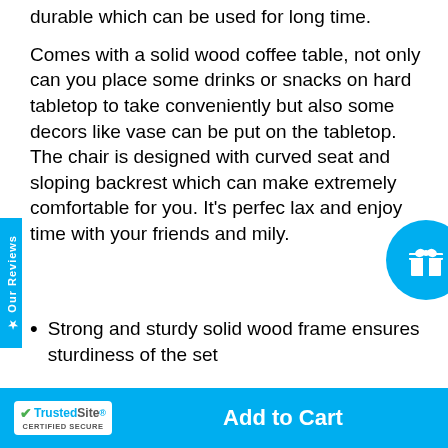durable which can be used for long time.
Comes with a solid wood coffee table, not only can you place some drinks or snacks on hard tabletop to take conveniently but also some decors like vase can be put on the tabletop. The chair is designed with curved seat and sloping backrest which can make extremely comfortable for you. It's perfect to lax and enjoy time with your friends and family.
Strong and sturdy solid wood frame ensures sturdiness of the set
Hand-woven rattan can withstand
Add to Cart